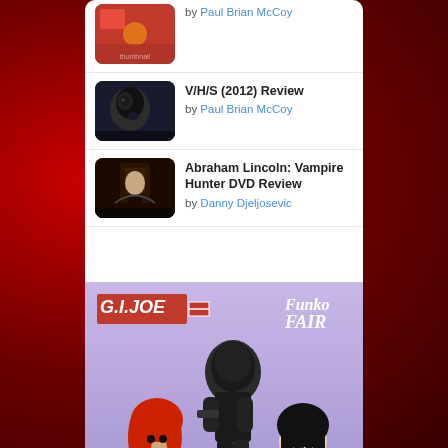by Paul Brian McCoy
V/H/S (2012) Review by Paul Brian McCoy
Abraham Lincoln: Vampire Hunter DVD Review by Danny Djeljosevic
[Figure (photo): G.I. Joe Funko Fair promotional image featuring Funko Pop vinyl figures including a red-haired female figure in yellow suit, a black ninja/Snake Eyes figure, a white ninja/Storm Shadow figure, and a female figure with dark hair and glasses. G.I. Joe logo top left, Funko Fair logo top right, purple gradient background.]